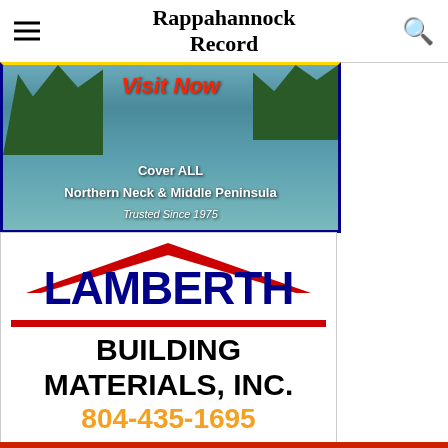Rappahannock Record
[Figure (photo): River aerial photo advertisement for Rappahannock Record with text: Visit Now, Cover ALL Northern Neck & Middle Peninsula, Trusted Since 1975]
[Figure (logo): Lamberth Building Materials, Inc. advertisement with logo, phone number 804-435-1695]